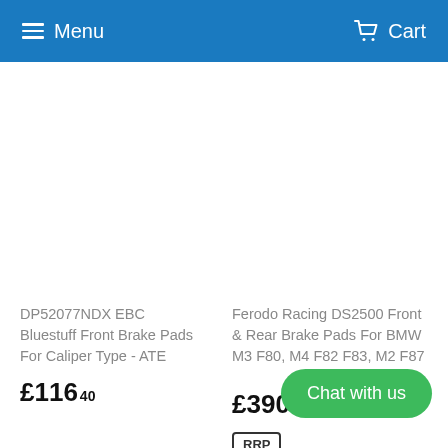Menu  Cart
DP52077NDX EBC Bluestuff Front Brake Pads For Caliper Type - ATE
£116.40
Ferodo Racing DS2500 Front & Rear Brake Pads For BMW M3 F80, M4 F82 F83, M2 F87
£390.21  £433.57
RRP
Chat with us